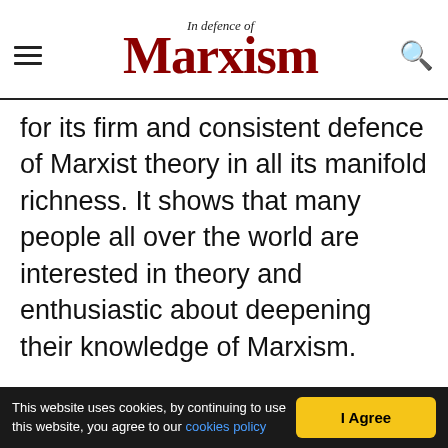In Defence of Marxism
for its firm and consistent defence of Marxist theory in all its manifold richness. It shows that many people all over the world are interested in theory and enthusiastic about deepening their knowledge of Marxism.
Marxist.com has its critics, however. Some of our critics complain because we write articles about ancient Rome in the middle of the biggest crisis of capitalism since the 1930s. In fairness to ourselves, Marxist.com has published a very great deal on the crisis, and will continue to do so. But we also have
This website uses cookies, by continuing to use this website, you agree to our cookies policy   I Agree